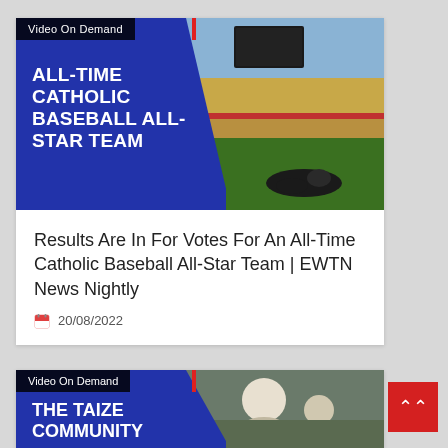[Figure (photo): Thumbnail image for video: blue overlay with 'ALL-TIME CATHOLIC BASEBALL ALL-STAR TEAM' text on left, baseball stadium photo on right, 'Video On Demand' badge at top]
Results Are In For Votes For An All-Time Catholic Baseball All-Star Team | EWTN News Nightly
20/08/2022
[Figure (photo): Thumbnail image for second video: blue overlay with 'THE TAIZE COMMUNITY' text, 'Video On Demand' badge at top, people in background]